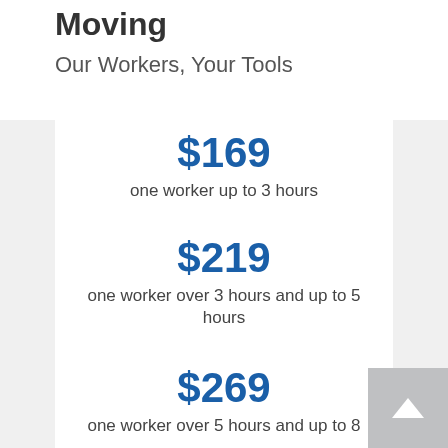Moving
Our Workers, Your Tools
$169
one worker up to 3 hours
$219
one worker over 3 hours and up to 5 hours
$269
one worker over 5 hours and up to 8